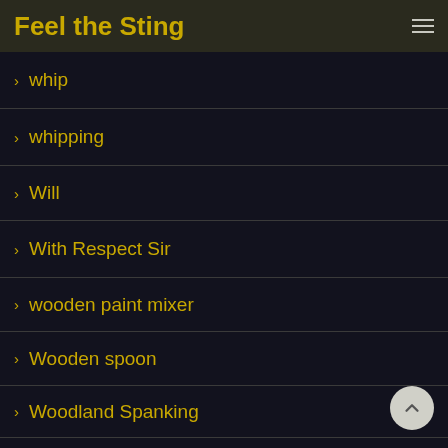Feel the Sting
whip
whipping
Will
With Respect Sir
wooden paint mixer
Wooden spoon
Woodland Spanking
Woodland Vandals
Workshy
Xander Holister
Xander Hollister
You've Been Warned